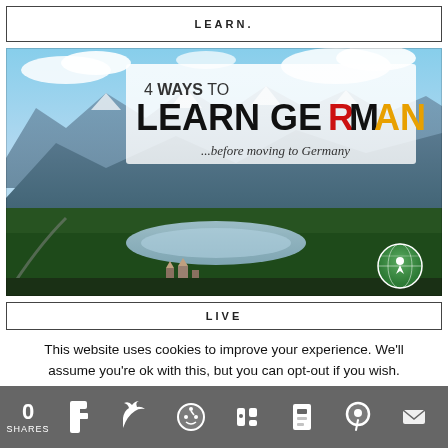LEARN.
[Figure (photo): Aerial landscape photo of German Alps with mountains, lake, and forest valleys. Overlay text reads '4 WAYS TO LEARN GERMAN ...before moving to Germany' with a globe/map logo in bottom right corner.]
LIVE
This website uses cookies to improve your experience. We'll assume you're ok with this, but you can opt-out if you wish.
0 SHARES  [Facebook] [Twitter] [Reddit] [Mix] [Flipboard] [Pinterest] [Email]